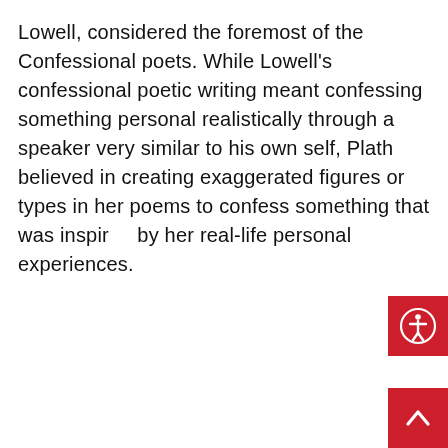Lowell, considered the foremost of the Confessional poets. While Lowell's confessional poetic writing meant confessing something personal realistically through a speaker very similar to his own self, Plath believed in creating exaggerated figures or types in her poems to confess something that was inspired by her real-life personal experiences.